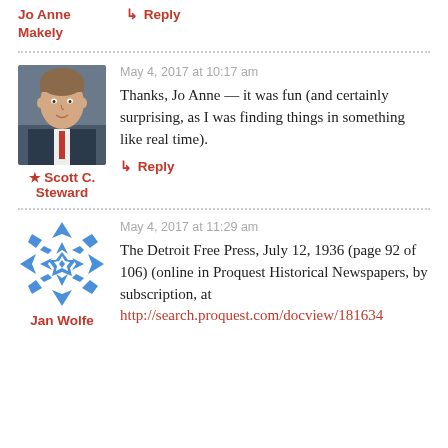Jo Anne Makely
↳ Reply
[Figure (photo): Portrait photo of Scott C. Steward, a man in a suit with bookshelves behind him]
★ Scott C. Steward
May 4, 2017 at 10:17 am
Thanks, Jo Anne — it was fun (and certainly surprising, as I was finding things in something like real time).
↳ Reply
[Figure (illustration): Blue geometric snowflake/quilt pattern avatar for Jan Wolfe]
Jan Wolfe
May 4, 2017 at 11:29 am
The Detroit Free Press, July 12, 1936 (page 92 of 106) (online in Proquest Historical Newspapers, by subscription, at http://search.proquest.com/docview/181634